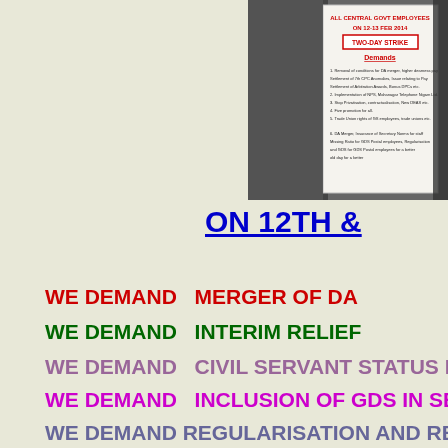[Figure (photo): Photo of a union strike notice poster showing 'TWO-DAY STRIKE ON 12-13 FEB 2014' with list of demands]
ON 12TH &
WE DEMAND   MERGER OF DA
WE DEMAND   INTERIM RELIEF
WE DEMAND   CIVIL SERVANT STATUS FOR GRAM
WE DEMAND   INCLUSION OF GDS IN SEVENTH CP
WE DEMAND REGULARISATION AND REVISION OF
WE DEMAND   DATE OF EFFECET OF 7TH CPC FROM
WE DEMAND   SCRAP NEW PENSION SCHEME & R